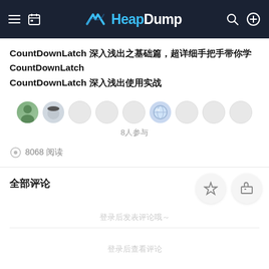HeapDump
CountDownLatch 深入浅出之基础篇，超详细手把手带你学CountDownLatch CountDownLatch 深入浅出使用实战
8人参与
8068 阅读
全部评论
登录后发表评论哦～
登录后查看评论